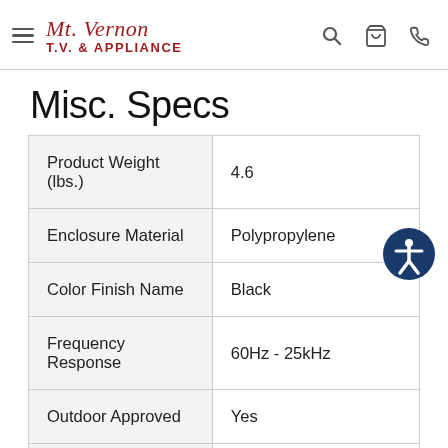Mt. Vernon T.V. & Appliance
Misc. Specs
|  |  |
| --- | --- |
| Product Weight (lbs.) | 4.6 |
| Enclosure Material | Polypropylene |
| Color Finish Name | Black |
| Frequency Response | 60Hz - 25kHz |
| Outdoor Approved | Yes |
| Manufacturer Warranty | 5 Year Parts & Labor |